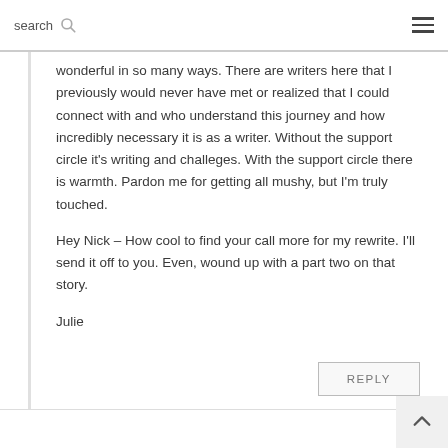search ☰
wonderful in so many ways. There are writers here that I previously would never have met or realized that I could connect with and who understand this journey and how incredibly necessary it is as a writer. Without the support circle it's writing and challeges. With the support circle there is warmth. Pardon me for getting all mushy, but I'm truly touched.
Hey Nick – How cool to find your call more for my rewrite. I'll send it off to you. Even, wound up with a part two on that story.
Julie
REPLY